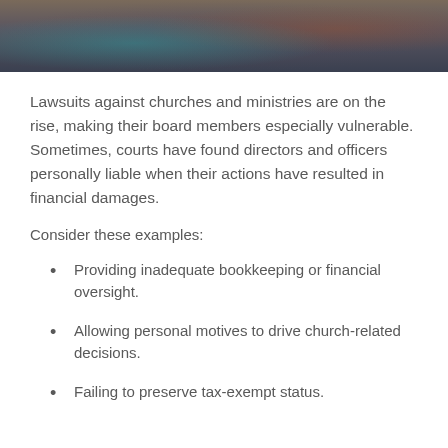[Figure (photo): Partial view of people in a meeting or gathering, blurred/cropped at top of page]
Lawsuits against churches and ministries are on the rise, making their board members especially vulnerable. Sometimes, courts have found directors and officers personally liable when their actions have resulted in financial damages.
Consider these examples:
Providing inadequate bookkeeping or financial oversight.
Allowing personal motives to drive church-related decisions.
Failing to preserve tax-exempt status.